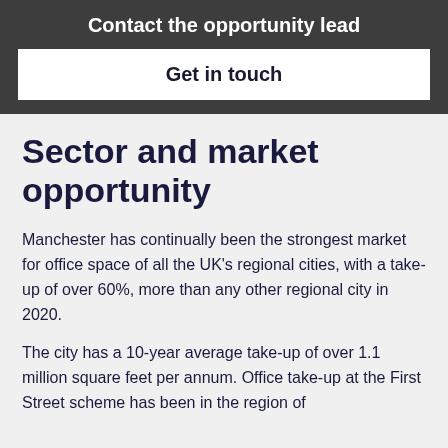Contact the opportunity lead
Get in touch
Sector and market opportunity
Manchester has continually been the strongest market for office space of all the UK's regional cities, with a take-up of over 60%, more than any other regional city in 2020.
The city has a 10-year average take-up of over 1.1 million square feet per annum. Office take-up at the First Street scheme has been in the region of